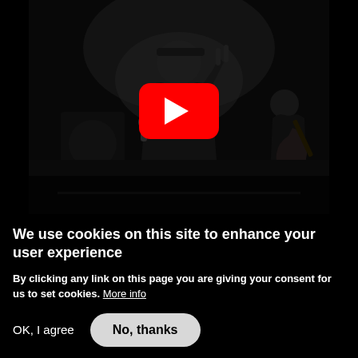[Figure (screenshot): YouTube video thumbnail showing a dark concert scene with a singer holding a microphone wearing a black cap and leather jacket, a guitarist in the background, and a YouTube play button overlay in the center.]
We use cookies on this site to enhance your user experience
By clicking any link on this page you are giving your consent for us to set cookies. More info
OK, I agree
No, thanks